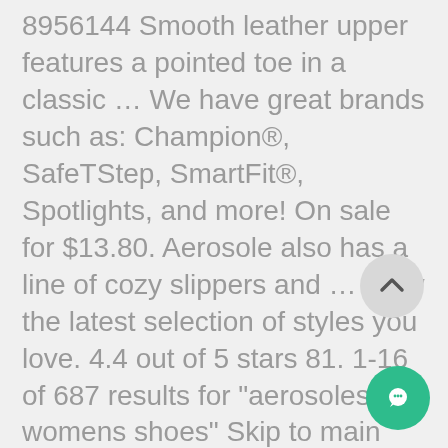8956144 Smooth leather upper features a pointed toe in a classic … We have great brands such as: Champion®, SafeTStep, SmartFit®, Spotlights, and more! On sale for $13.80. Aerosole also has a line of cozy slippers and … View the latest selection of styles you love. 4.4 out of 5 stars 81. 1-16 of 687 results for "aerosoles womens shoes" Skip to main search results Eligible for Free Shipping. Aerosoles Shoes 477 items found. 36.25. Aerosoles has footwear that is fashionable and made to fit well. All customers get FREE Shipping on orders over $25 shipped by Amazon ... Aerosoles ... Hiking Shoes $49.99 Compare At $80 See Similar Styles Hide
[Figure (other): Scroll-to-top button (circular grey button with upward arrow)]
[Figure (other): Chat button (circular green button with chat icon)]